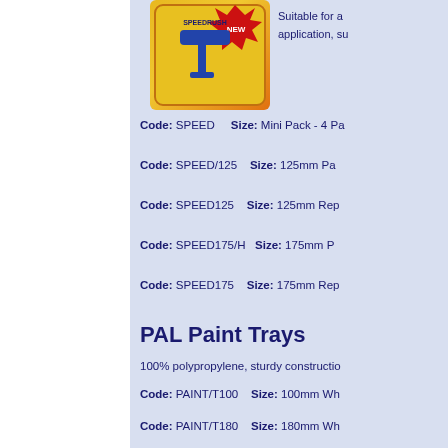[Figure (photo): Product photo of SpeedRush mini paint pad pack with NEW badge, red and yellow packaging]
Suitable for application, su...
Code: SPEED    Size: Mini Pack - 4 Pa...
Code: SPEED/125    Size: 125mm Pa...
Code: SPEED125    Size: 125mm Rep...
Code: SPEED175/H    Size: 175mm P...
Code: SPEED175    Size: 175mm Rep...
PAL Paint Trays
100% polypropylene, sturdy constructio...
Code: PAINT/T100    Size: 100mm Wh...
Code: PAINT/T180    Size: 180mm Wh...